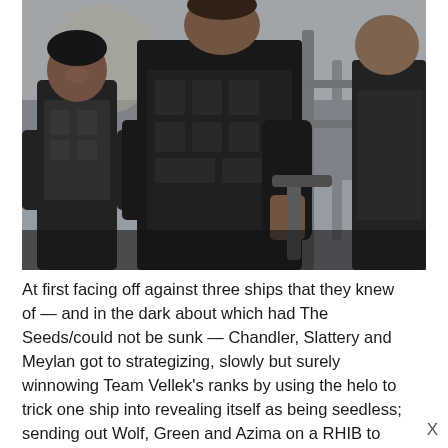[Figure (photo): Three people dressed in black tactical gear/vests. A woman on the left is smiling, a large man in the center wearing a black vest and carrying equipment, and a third person partially visible on the right. Outdoor setting with blurred background.]
At first facing off against three ships that they knew of — and in the dark about which had The Seeds/could not be sunk — Chandler, Slattery and Meylan got to strategizing, slowly but surely winnowing Team Vellek's ranks by using the helo to trick one ship into revealing itself as being seedless; sending out Wolf, Green and Azima on a RHIB to trick another ship into mistaking a trawler for the